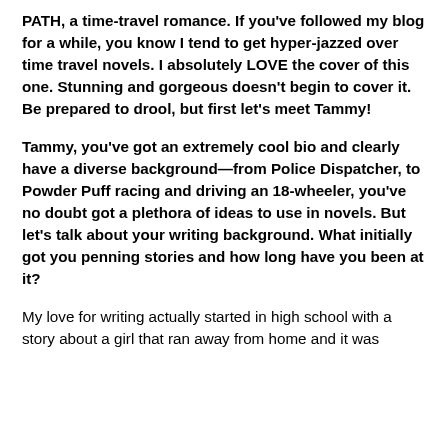PATH, a time-travel romance. If you've followed my blog for a while, you know I tend to get hyper-jazzed over time travel novels. I absolutely LOVE the cover of this one. Stunning and gorgeous doesn't begin to cover it. Be prepared to drool, but first let's meet Tammy!
Tammy, you've got an extremely cool bio and clearly have a diverse background—from Police Dispatcher, to Powder Puff racing and driving an 18-wheeler, you've no doubt got a plethora of ideas to use in novels. But let's talk about your writing background. What initially got you penning stories and how long have you been at it?
My love for writing actually started in high school with a story about a girl that ran away from home and it was